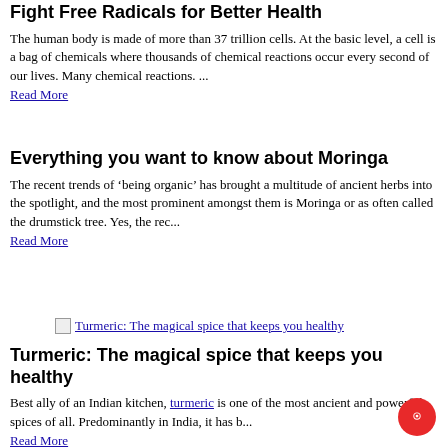Fight Free Radicals for Better Health
The human body is made of more than 37 trillion cells. At the basic level, a cell is a bag of chemicals where thousands of chemical reactions occur every second of our lives. Many chemical reactions. ...
Read More
Everything you want to know about Moringa
The recent trends of ‘being organic’ has brought a multitude of ancient herbs into the spotlight, and the most prominent amongst them is Moringa or as often called the drumstick tree. Yes, the rec...
Read More
[Figure (illustration): Image link for Turmeric article with broken image icon and blue hyperlink text]
Turmeric: The magical spice that keeps you healthy
Best ally of an Indian kitchen, turmeric is one of the most ancient and powerful spices of all. Predominantly in India, it has b...
Read More